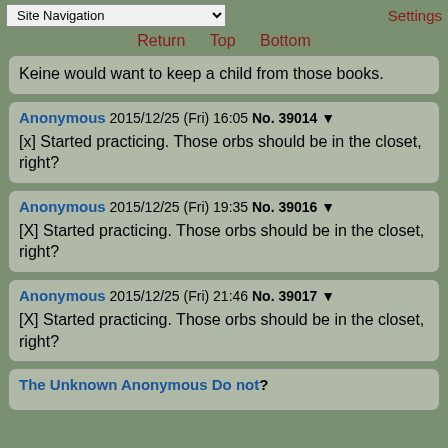Site Navigation | Settings | Return | Top | Bottom
Keine would want to keep a child from those books.
Anonymous 2015/12/25 (Fri) 16:05 No. 39014 ▼
[x] Started practicing. Those orbs should be in the closet, right?
Anonymous 2015/12/25 (Fri) 19:35 No. 39016 ▼
[X] Started practicing. Those orbs should be in the closet, right?
Anonymous 2015/12/25 (Fri) 21:46 No. 39017 ▼
[X] Started practicing. Those orbs should be in the closet, right?
The Unknown Anonymous Do not?